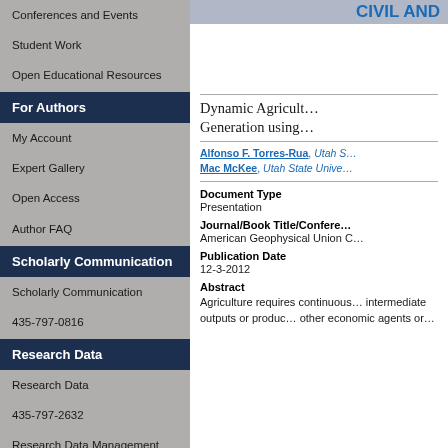Conferences and Events
Student Work
Open Educational Resources
For Authors
My Account
Expert Gallery
Open Access
Author FAQ
Scholarly Communication
Scholarly Communication
435-797-0816
Research Data
Research Data
435-797-2632
Research Data Management Services @ USU
[Figure (photo): Top banner photo for Civil and Environmental Engineering department]
Dynamic Agricultural... Generation using...
Alfonso F. Torres-Rua, Utah S...
Mac McKee, Utah State Unive...
Document Type
Presentation
Journal/Book Title/Confere...
American Geophysical Union C...
Publication Date
12-3-2012
Abstract
Agriculture requires continuous... intermediate outputs or produc... other economic agents or...